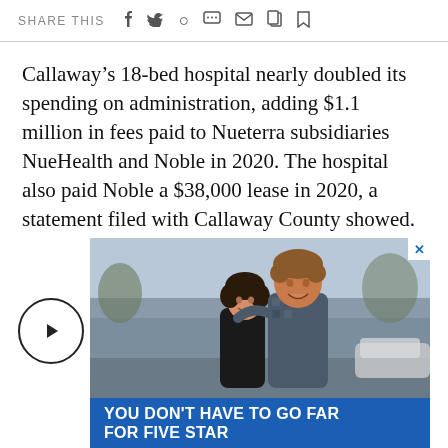SHARE THIS
Callaway’s 18-bed hospital nearly doubled its spending on administration, adding $1.1 million in fees paid to Nueterra subsidiaries NueHealth and Noble in 2020. The hospital also paid Noble a $38,000 lease in 2020, a statement filed with Callaway County showed.
[Figure (photo): Advertisement photo showing a couple hugging outdoors on a street, with blue banner text reading YOU DON'T HAVE TO GO FAR FOR FIVE STAR]